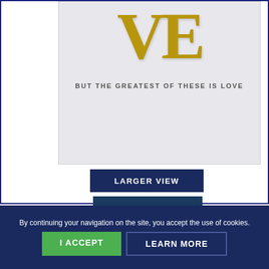[Figure (illustration): Greeting card image showing large gold letters 'VE' and the text 'BUT THE GREATEST OF THESE IS LOVE' on a light gray background]
LARGER VIEW
VIEW INSIDE
Cards as shown (No Imprinting)
By continuing your navigation on the site, you accept the use of cookies.
I ACCEPT
LEARN MORE